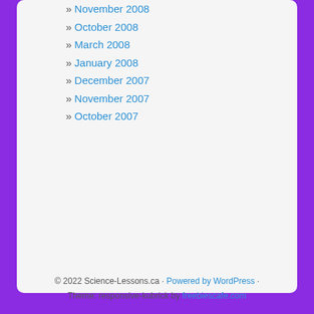» November 2008
» October 2008
» March 2008
» January 2008
» December 2007
» November 2007
» October 2007
© 2022 Science-Lessons.ca · Powered by WordPress · Theme: responsive-kubrick by freebiescafe.com